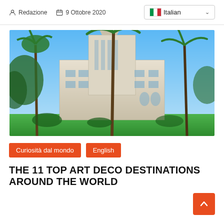Redazione   9 Ottobre 2020   Italian
[Figure (photo): Photo of a large Art Deco building (Los Angeles City Hall) surrounded by tall palm trees under a bright blue sky, with green lawn in the foreground.]
Curiosità dal mondo
English
THE 11 TOP ART DECO DESTINATIONS AROUND THE WORLD